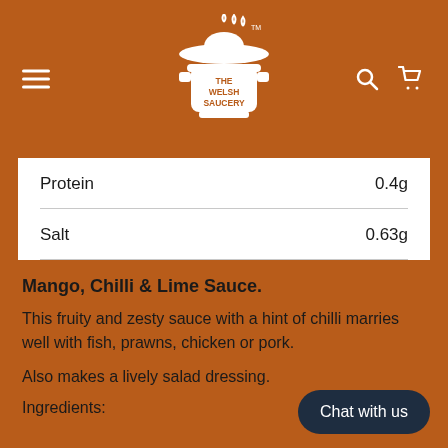[Figure (logo): The Welsh Saucery logo — a cooking pot with steam and a sombrero hat, white on orange/brown background]
| Nutrient | Amount |
| --- | --- |
| Protein | 0.4g |
| Salt | 0.63g |
Mango, Chilli & Lime Sauce.
This fruity and zesty sauce with a hint of chilli marries well with fish, prawns, chicken or pork.
Also makes a lively salad dressing.
Ingredients: